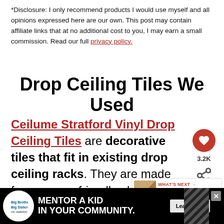*Disclosure: I only recommend products I would use myself and all opinions expressed here are our own. This post may contain affiliate links that at no additional cost to you, I may earn a small commission. Read our full privacy policy.
Drop Ceiling Tiles We Used
Ceilume Stratford Vinyl Drop Ceiling Tiles are decorative tiles that fit in existing drop ceiling racks. They are made from an eco-friendly plastic material that can easily be put in space to makeover your drop ceilings.
[Figure (screenshot): Ad banner: Big Brothers Big Sisters - MENTOR A KID IN YOUR COMMUNITY. Learn How button.]